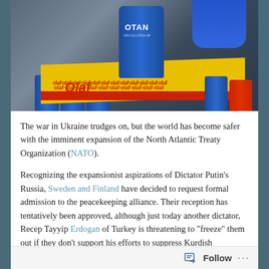[Figure (photo): Photo of a hand holding a blue NATO-branded beer can labeled 'OTAN' above yellow and red boxes labeled 'Olaf', with rows of blue cans in the background]
The war in Ukraine trudges on, but the world has become safer with the imminent expansion of the North Atlantic Treaty Organization (NATO).
Recognizing the expansionist aspirations of Dictator Putin's Russia, Sweden and Finland have decided to request formal admission to the peacekeeping alliance. Their reception has tentatively been approved, although just today another dictator, Recep Tayyip Erdogan of Turkey is threatening to “freeze” them out if they don’t support his efforts to suppress Kurdish independence.
Follow ...